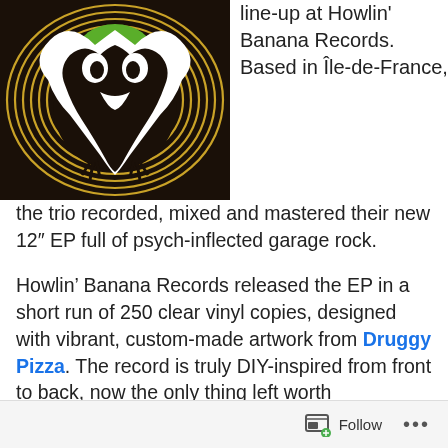[Figure (illustration): Vinyl record album artwork illustration showing a stylized bird or creature design in black, white, and green, with golden concentric rings on a dark background, in a psychedelic/graphic style.]
line-up at Howlin' Banana Records. Based in Île-de-France, the trio recorded, mixed and mastered their new 12" EP full of psych-inflected garage rock.
Howlin' Banana Records released the EP in a short run of 250 clear vinyl copies, designed with vibrant, custom-made artwork from Druggy Pizza. The record is truly DIY-inspired from front to back, now the only thing left worth mentioning is the menacing, psych-induced rock it's littered with.
“Space Cat” begins their EP with a gritty crunch, loaded with warbled textures and colorful guitar solos. It’s like
Follow ...